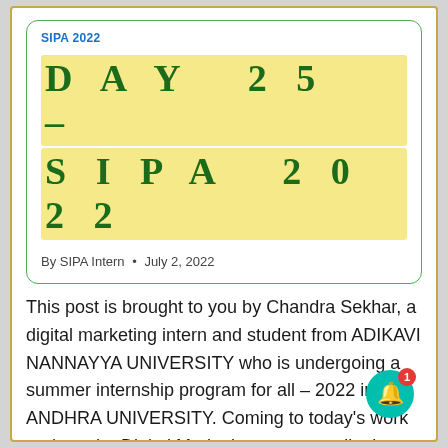SIPA 2022
DAY 25 – SIPA 2022
By SIPA Intern • July 2, 2022
This post is brought to you by Chandra Sekhar, a digital marketing intern and student from ADIKAVI NANNAYYA UNIVERSITY who is undergoing a summer internship program for all – 2022 in ANDHRA UNIVERSITY. Coming to today's work update, the Digital Marketing team usually does daily blogs and simultaneous working on their website work.